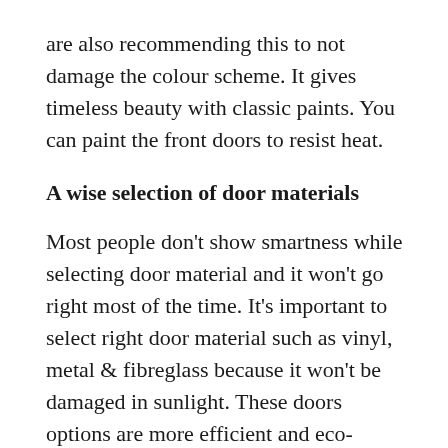are also recommending this to not damage the colour scheme. It gives timeless beauty with classic paints. You can paint the front doors to resist heat.
A wise selection of door materials
Most people don't show smartness while selecting door material and it won't go right most of the time. It's important to select right door material such as vinyl, metal & fibreglass because it won't be damaged in sunlight. These doors options are more efficient and eco-friendlier. Composite doors Nottingham is one of the expert brands who have been offering good quality heat resistant doors.